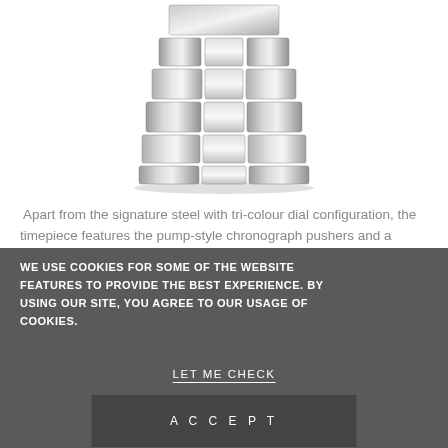[Figure (photo): Close-up bottom view of a silver stainless steel watch bracelet/clasp against a white background]
Apart from the signature steel with tri-colour dial configuration, the timepiece features the pump-style chronograph pushers and a
WE USE COOKIES FOR SOME OF THE WEBSITE FEATURES TO PROVIDE THE BEST EXPERIENCE. BY USING OUR SITE, YOU AGREE TO OUR USAGE OF COOKIES.
LET ME CHECK
ACCEPT